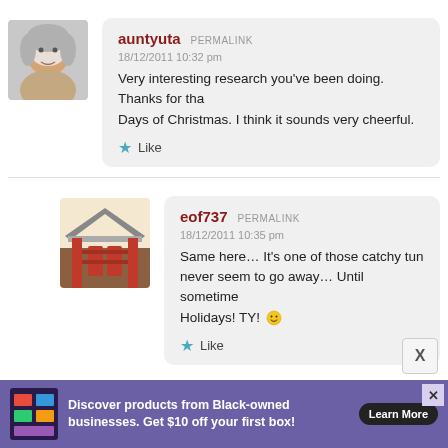[Figure (photo): Avatar of an elderly woman smiling, gray hair, profile photo]
auntyuta PERMALINK
18/12/2011 10:32 pm
Very interesting research you've been doing. Thanks for tha... Days of Christmas. I think it sounds very cheerful.
★ Like
[Figure (photo): Avatar showing a traditional Japanese red gate/temple building]
eof737 PERMALINK
18/12/2011 10:35 pm
Same here… It's one of those catchy tun... never seem to go away… Until sometime... Holidays! TY! 🙂
★ Like
[Figure (other): Advertisement banner: Discover products from Black-owned businesses. Get $10 off your first box! Learn More]